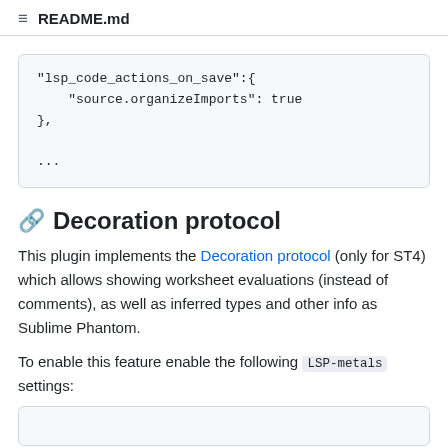≡ README.md
"lsp_code_actions_on_save":{
    "source.organizeImports": true
},
...
🔗 Decoration protocol
This plugin implements the Decoration protocol (only for ST4) which allows showing worksheet evaluations (instead of comments), as well as inferred types and other info as Sublime Phantom.
To enable this feature enable the following LSP-metals settings: